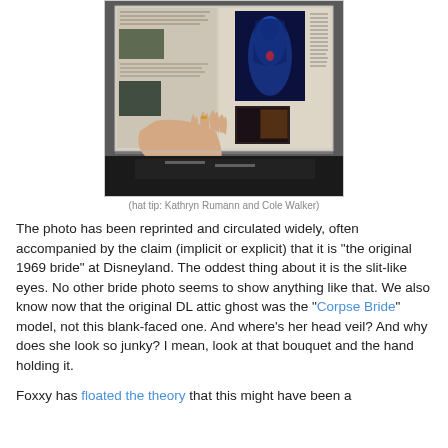[Figure (photo): A photograph showing an open book or magazine spread with images of what appears to be a haunted house bride ghost figure (shown in blue glowing form), other darker images, and a hand visible in the foreground flipping through the pages.]
(hat tip: Kathryn Rumann and Cole Walker)
The photo has been reprinted and circulated widely, often accompanied by the claim (implicit or explicit) that it is "the original 1969 bride" at Disneyland. The oddest thing about it is the slit-like eyes. No other bride photo seems to show anything like that. We also know now that the original DL attic ghost was the "Corpse Bride" model, not this blank-faced one. And where's her head veil? And why does she look so junky? I mean, look at that bouquet and the hand holding it.
Foxxy has floated the theory that this might have been a